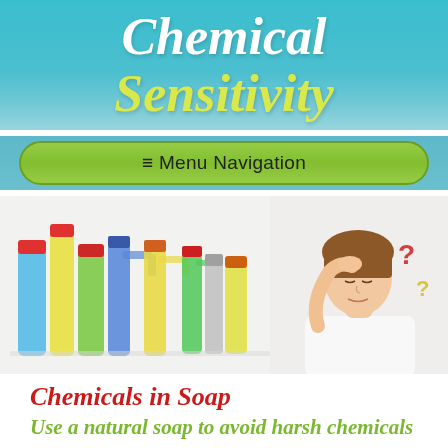Chemical Sensitivity
≡ Menu Navigation
[Figure (photo): A collection of colorful household cleaning product bottles on the left side, including spray bottles, detergent bottles in blue, yellow, green, and red. On the right side, a woman in a white top holds her hand to her forehead in distress, with red and yellow question marks beside her.]
Chemicals in Soap
Use a natural soap to avoid harsh chemicals